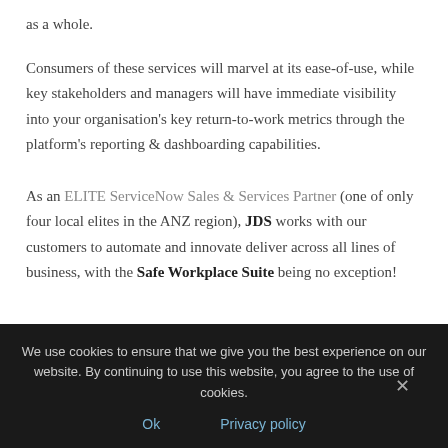as a whole.
Consumers of these services will marvel at its ease-of-use, while key stakeholders and managers will have immediate visibility into your organisation's key return-to-work metrics through the platform's reporting & dashboarding capabilities.
As an ELITE ServiceNow Sales & Services Partner (one of only four local elites in the ANZ region), JDS works with our customers to automate and innovate deliver across all lines of business, with the Safe Workplace Suite being no exception!
We use cookies to ensure that we give you the best experience on our website. By continuing to use this website, you agree to the use of cookies.
Ok
Privacy policy